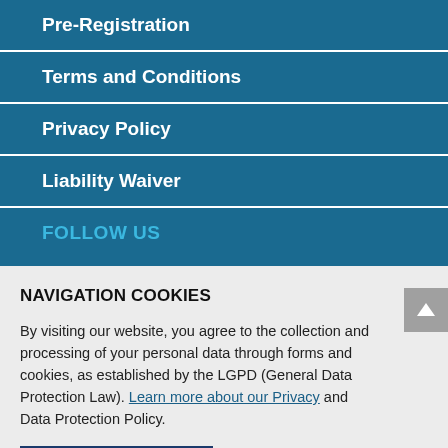Pre-Registration
Terms and Conditions
Privacy Policy
Liability Waiver
FOLLOW US
NAVIGATION COOKIES
By visiting our website, you agree to the collection and processing of your personal data through forms and cookies, as established by the LGPD (General Data Protection Law). Learn more about our Privacy and Data Protection Policy.
ACCEPT AND CLOSE